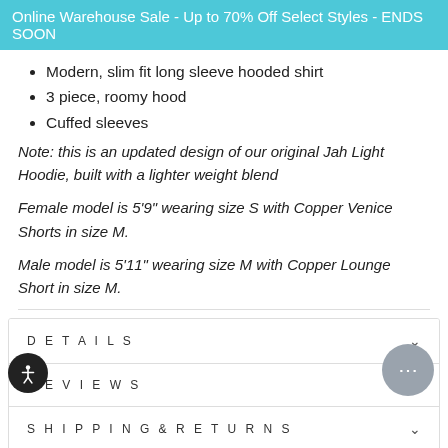Online Warehouse Sale - Up to 70% Off Select Styles - ENDS SOON
Modern, slim fit long sleeve hooded shirt
3 piece, roomy hood
Cuffed sleeves
Note: this is an updated design of our original Jah Light Hoodie, built with a lighter weight blend
Female model is 5'9" wearing size S with Copper Venice Shorts in size M.
Male model is 5'11" wearing size M with Copper Lounge Short in size M.
DETAILS
REVIEWS
SHIPPING & RETURNS